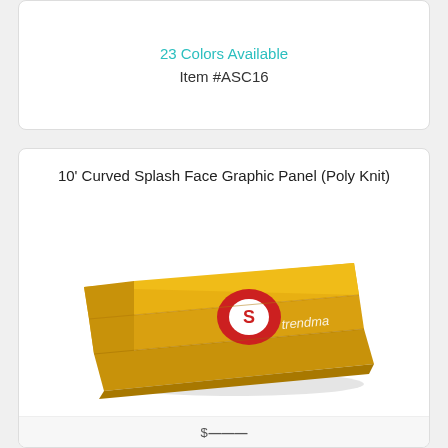23 Colors Available
Item #ASC16
10' Curved Splash Face Graphic Panel (Poly Knit)
[Figure (photo): Folded yellow poly knit graphic panel with a red circular logo and white text reading 'trendma' visible on it.]
★★★★☆ (4 out of 5 stars)